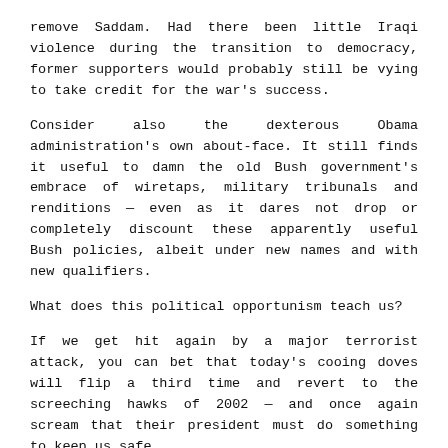remove Saddam. Had there been little Iraqi violence during the transition to democracy, former supporters would probably still be vying to take credit for the war's success.
Consider also the dexterous Obama administration's own about-face. It still finds it useful to damn the old Bush government's embrace of wiretaps, military tribunals and renditions — even as it dares not drop or completely discount these apparently useful Bush policies, albeit under new names and with new qualifiers.
What does this political opportunism teach us?
If we get hit again by a major terrorist attack, you can bet that today's cooing doves will flip a third time and revert to the screeching hawks of 2002 — and once again scream that their president must do something to keep us safe.
©2009 Victor Davis Hanson